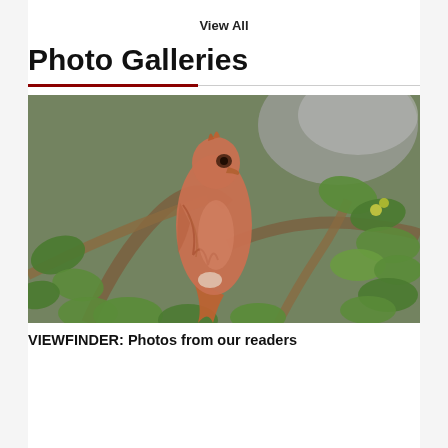View All
Photo Galleries
[Figure (photo): A reddish-brown bird perched on branches among green leafy holly-like foliage and gray tree bark.]
VIEWFINDER: Photos from our readers